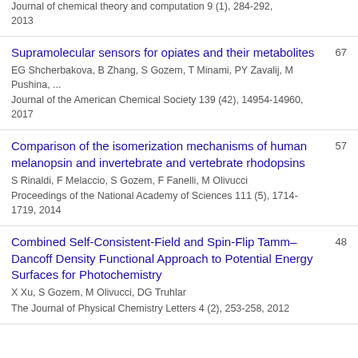Journal of chemical theory and computation 9 (1), 284-292, 2013
Supramolecular sensors for opiates and their metabolites | EG Shcherbakova, B Zhang, S Gozem, T Minami, PY Zavalij, M Pushina, ... | Journal of the American Chemical Society 139 (42), 14954-14960, 2017 | 67
Comparison of the isomerization mechanisms of human melanopsin and invertebrate and vertebrate rhodopsins | S Rinaldi, F Melaccio, S Gozem, F Fanelli, M Olivucci | Proceedings of the National Academy of Sciences 111 (5), 1714-1719, 2014 | 57
Combined Self-Consistent-Field and Spin-Flip Tamm–Dancoff Density Functional Approach to Potential Energy Surfaces for Photochemistry | X Xu, S Gozem, M Olivucci, DG Truhlar | The Journal of Physical Chemistry Letters 4 (2), 253-258, 2012 | 48